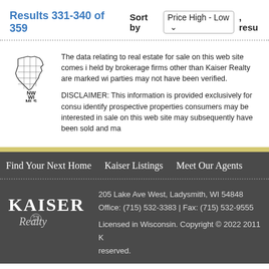Results 331-340 of 359
Sort by Price High - Low , resu
[Figure (logo): NW WI MLS logo — outline map of Wisconsin counties with text NW WI MLS]
The data relating to real estate for sale on this web site comes i held by brokerage firms other than Kaiser Realty are marked wi parties may not have been verified.
DISCLAIMER: This information is provided exclusively for consu identify prospective properties consumers may be interested in sale on this web site may subsequently have been sold and ma
Find Your Next Home   Kaiser Listings   Meet Our Agents
[Figure (logo): Kaiser Realty logo — stylized text Kaiser Realty with Since 1962 emblem]
205 Lake Ave West, Ladysmith, WI 54848
Office: (715) 532-3383 | Fax: (715) 532-9555
Licensed in Wisconsin. Copyright © 2022 2011 K reserved.